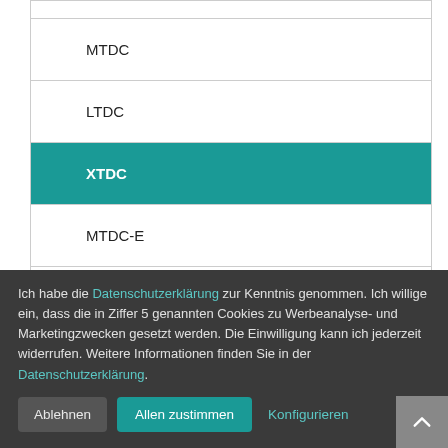| MTDC |
| LTDC |
| XTDC |
| MTDC-E |
| LTDC-E |
Ich habe die Datenschutzerklärung zur Kenntnis genommen. Ich willige ein, dass die in Ziffer 5 genannten Cookies zu Werbeanalyse- und Marketingzwecken gesetzt werden. Die Einwilligung kann ich jederzeit widerrufen. Weitere Informationen finden Sie in der Datenschutzerklärung.
Ablehnen | Allen zustimmen | Konfigurieren